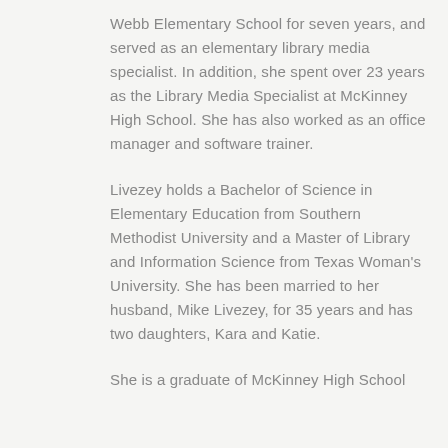Webb Elementary School for seven years, and served as an elementary library media specialist. In addition, she spent over 23 years as the Library Media Specialist at McKinney High School. She has also worked as an office manager and software trainer.
Livezey holds a Bachelor of Science in Elementary Education from Southern Methodist University and a Master of Library and Information Science from Texas Woman's University. She has been married to her husband, Mike Livezey, for 35 years and has two daughters, Kara and Katie.
She is a graduate of McKinney High School